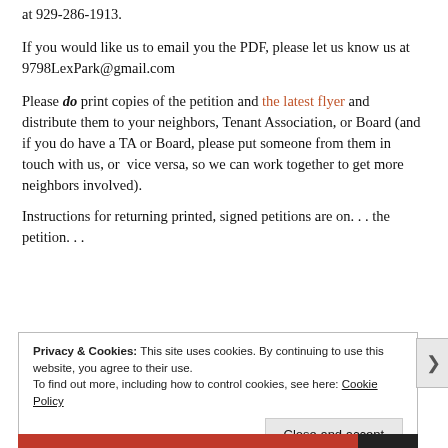at 929-286-1913.
If you would like us to email you the PDF, please let us know us at 9798LexPark@gmail.com
Please do print copies of the petition and the latest flyer and distribute them to your neighbors, Tenant Association, or Board (and if you do have a TA or Board, please put someone from them in touch with us, or vice versa, so we can work together to get more neighbors involved).
Instructions for returning printed, signed petitions are on. . . the petition. . .
Privacy & Cookies: This site uses cookies. By continuing to use this website, you agree to their use. To find out more, including how to control cookies, see here: Cookie Policy
Close and accept